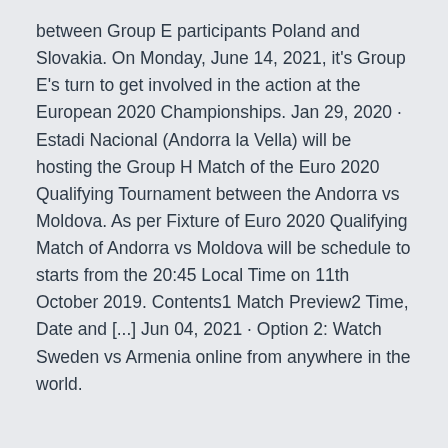between Group E participants Poland and Slovakia. On Monday, June 14, 2021, it's Group E's turn to get involved in the action at the European 2020 Championships. Jan 29, 2020 · Estadi Nacional (Andorra la Vella) will be hosting the Group H Match of the Euro 2020 Qualifying Tournament between the Andorra vs Moldova. As per Fixture of Euro 2020 Qualifying Match of Andorra vs Moldova will be schedule to starts from the 20:45 Local Time on 11th October 2019. Contents1 Match Preview2 Time, Date and [...] Jun 04, 2021 · Option 2: Watch Sweden vs Armenia online from anywhere in the world.